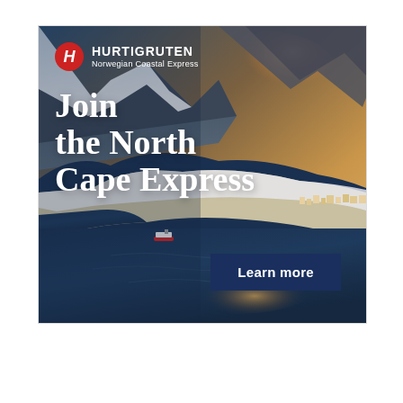[Figure (illustration): Hurtigruten Norwegian Coastal Express advertisement. Aerial photograph of a Norwegian fjord landscape with snow-covered mountains, a coastal village, and a cruise ship in the water. Blue and gold tones at sunset/sunrise. Logo in top left: red circle with white H, text HURTIGRUTEN Norwegian Coastal Express. Large white serif text: 'Join the North Cape Express'. Dark navy button bottom right: 'Learn more'.]